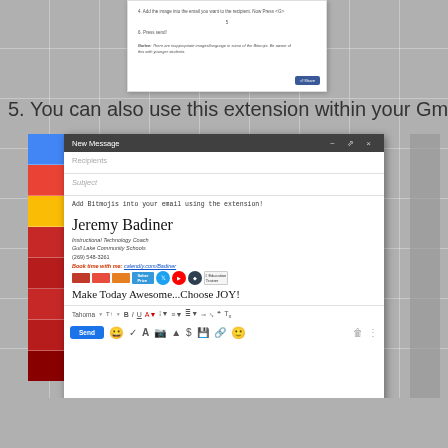[Figure (screenshot): Partial screenshot of a document with text lines and a Share button at bottom right]
5. You can also use this extension within your Gmail.
[Figure (screenshot): Gmail New Message compose window showing recipients, subject, body text 'Add Bitmojis into your email using the extension!', email signature of Jeremy Badiner (Instructional Technology Coach, Gull Lake Community Schools), and formatting toolbar with Send button]